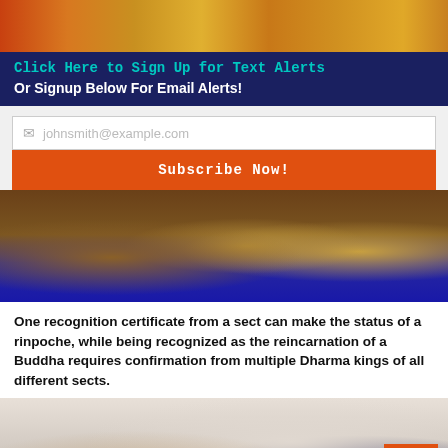[Figure (photo): Top portion of a photo showing people in colorful clothing, partially cropped]
Click Here to Sign Up for Text Alerts
Or Signup Below For Email Alerts!
johnsmith@example.com (email input placeholder)
Subscribe Now!
[Figure (photo): Photo of decorative brass/bronze Buddhist offering bowls and ritual objects on a blue surface]
One recognition certificate from a sect can make the status of a rinpoche, while being recognized as the reincarnation of a Buddha requires confirmation from multiple Dharma kings of all different sects.
[Figure (photo): Photo of two men at a desk looking at a laptop or documents, one in a suit with a red tie]